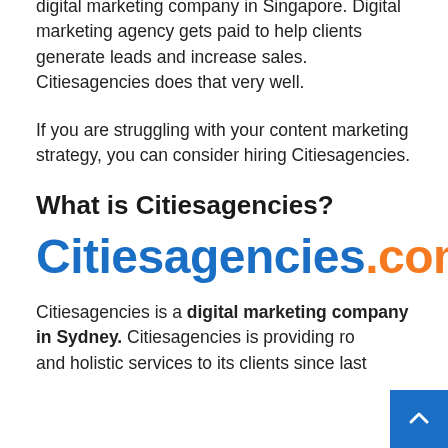digital marketing company in Singapore. Digital marketing agency gets paid to help clients generate leads and increase sales. Citiesagencies does that very well.
If you are struggling with your content marketing strategy, you can consider hiring Citiesagencies.
What is Citiesagencies?
[Figure (logo): Citiesagencies.com logo in blue and orange bold text]
Citiesagencies is a digital marketing company in Sydney. Citiesagencies is providing ro and holistic services to its clients since last